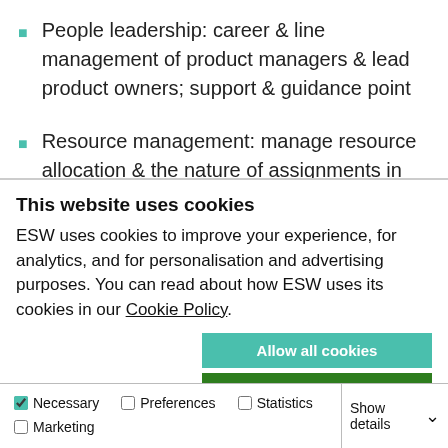People leadership: career & line management of product managers & lead product owners; support & guidance point
Resource management: manage resource allocation & the nature of assignments in collaboration with
This website uses cookies
ESW uses cookies to improve your experience, for analytics, and for personalisation and advertising purposes. You can read about how ESW uses its cookies in our Cookie Policy.
Allow all cookies
Allow selection
Use necessary cookies only
Necessary  Preferences  Statistics  Marketing  Show details